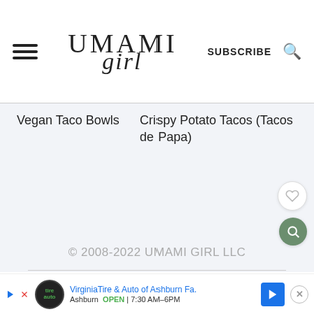[Figure (logo): Umami Girl website logo with hamburger menu, UMAMI girl text logo, SUBSCRIBE link and search icon]
Vegan Taco Bowls
Crispy Potato Tacos (Tacos de Papa)
© 2008-2022 UMAMI GIRL LLC
AN ELITE CAFEMEDIA FOOD PUBLISHER
VirginiaTire & Auto of Ashburn Fa. Ashburn OPEN 7:30 AM–6PM